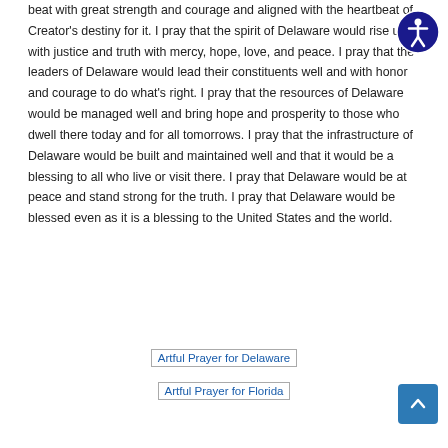beat with great strength and courage and aligned with the heartbeat of Creator's destiny for it. I pray that the spirit of Delaware would rise up with justice and truth with mercy, hope, love, and peace. I pray that the leaders of Delaware would lead their constituents well and with honor and courage to do what's right. I pray that the resources of Delaware would be managed well and bring hope and prosperity to those who dwell there today and for all tomorrows. I pray that the infrastructure of Delaware would be built and maintained well and that it would be a blessing to all who live or visit there. I pray that Delaware would be at peace and stand strong for the truth. I pray that Delaware would be blessed even as it is a blessing to the United States and the world.
[Figure (other): Artful Prayer for Delaware image placeholder]
[Figure (other): Artful Prayer for Florida image placeholder]